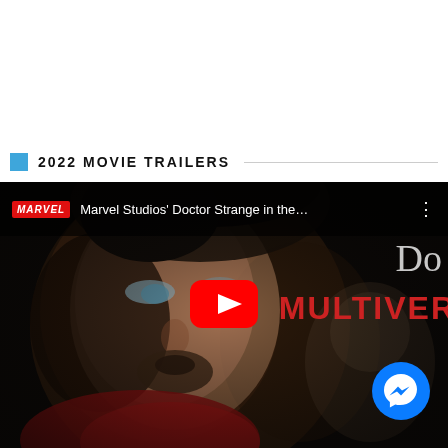2022 MOVIE TRAILERS
[Figure (screenshot): YouTube video thumbnail for Marvel Studios' Doctor Strange in the Multiverse of Madness. Shows a close-up of Doctor Strange's face against a dark background. The YouTube interface overlay includes the Marvel logo in red, the video title 'Marvel Studios' Doctor Strange in the...', a three-dot menu icon, partial text 'Do' and 'MULTIVER' visible on the right side in white/red styling. A large red YouTube play button is centered lower on the image. A blue Facebook Messenger chat bubble icon appears in the bottom right.]